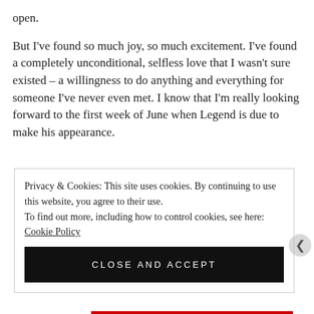open.
But I've found so much joy, so much excitement. I've found a completely unconditional, selfless love that I wasn't sure existed – a willingness to do anything and everything for someone I've never even met. I know that I'm really looking forward to the first week of June when Legend is due to make his appearance.
Privacy & Cookies: This site uses cookies. By continuing to use this website, you agree to their use.
To find out more, including how to control cookies, see here: Cookie Policy
CLOSE AND ACCEPT